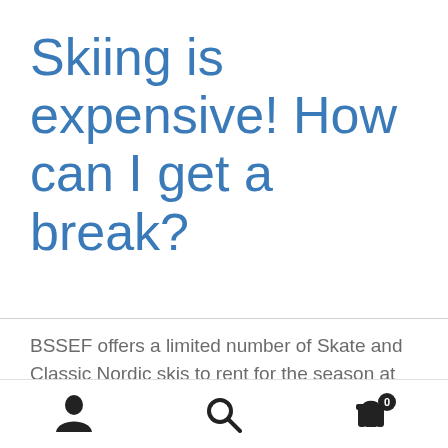Skiing is expensive! How can I get a break?
BSSEF offers a limited number of Skate and Classic Nordic skis to rent for the season at affordable rates. In addition, check the calendar for information about team equipment nights.
Navigation bar with person icon, search icon, and cart icon with badge 0